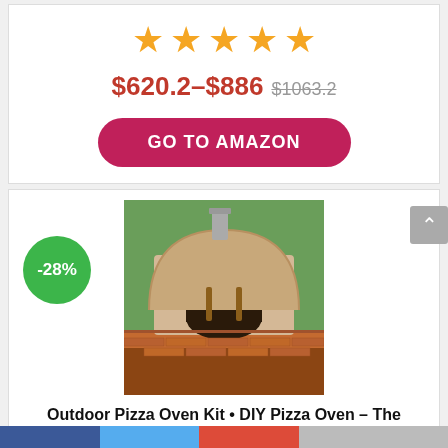[Figure (other): Five gold star rating icons]
$620.2–$886 $1063.2
[Figure (other): GO TO AMAZON button, red pill-shaped button]
-28%
[Figure (photo): Outdoor pizza oven / Mattone Barile foam form kit, showing an arched brick pizza oven outdoors]
Outdoor Pizza Oven Kit • DIY Pizza Oven – The Mattone Barile Foam Form (Medium Size) provides the PERFECT shape / size for